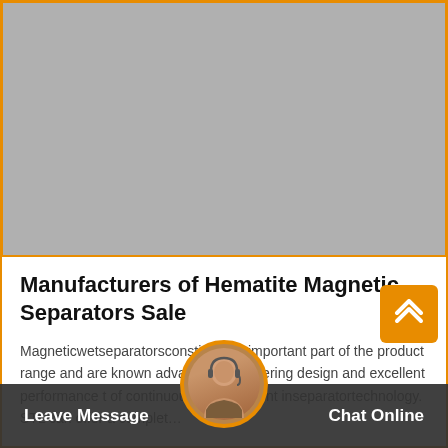[Figure (photo): Gray placeholder image area for hematite magnetic separator equipment photo]
Manufacturers of Hematite Magnetic Separators Sale
Magneticwetseparatorsconstitute an important part of the product range and are known advanced engineering design and excellent performance t of continuous development inseparatortechnology. STL can offer a complet...
Leave Message   Chat Online